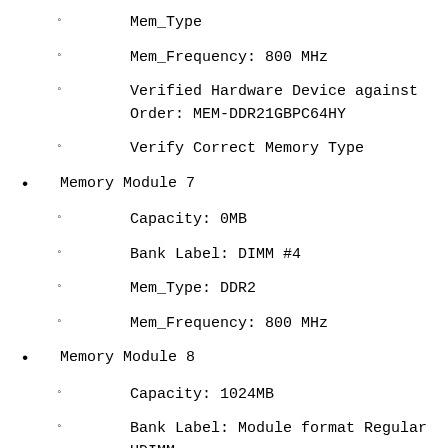Mem_Type
Mem_Frequency: 800 MHz
Verified Hardware Device against Order: MEM-DDR21GBPC64HY
Verify Correct Memory Type
Memory Module 7
Capacity: 0MB
Bank Label: DIMM #4
Mem_Type: DDR2
Mem_Frequency: 800 MHz
Memory Module 8
Capacity: 1024MB
Bank Label: Module format Regular UDIMM